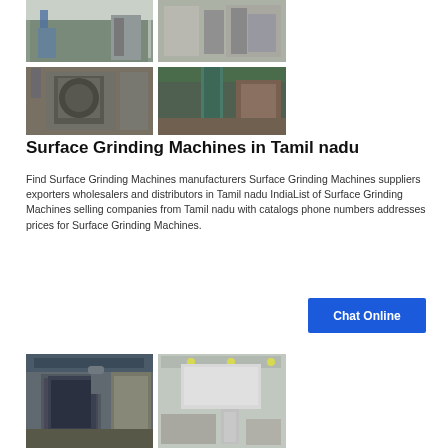[Figure (photo): Grid of industrial surface grinding machine photos showing factory/plant equipment - 4 photos arranged in a 2x2 grid]
Surface Grinding Machines in Tamil nadu
Find Surface Grinding Machines manufacturers Surface Grinding Machines suppliers exporters wholesalers and distributors in Tamil nadu IndiaList of Surface Grinding Machines selling companies from Tamil nadu with catalogs phone numbers addresses prices for Surface Grinding Machines.
Chat Online
[Figure (photo): Industrial grinding machine facility interior showing large equipment with dust collection systems - partial view at bottom of page]